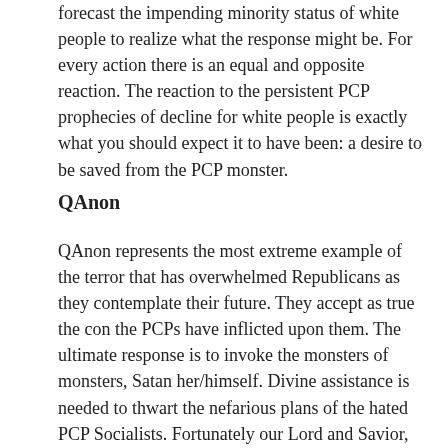forecast the impending minority status of white people to realize what the response might be. For every action there is an equal and opposite reaction. The reaction to the persistent PCP prophecies of decline for white people is exactly what you should expect it to have been: a desire to be saved from the PCP monster.
QAnon
QAnon represents the most extreme example of the terror that has overwhelmed Republicans as they contemplate their future. They accept as true the con the PCPs have inflicted upon them. The ultimate response is to invoke the monsters of monsters, Satan her/himself. Divine assistance is needed to thwart the nefarious plans of the hated PCP Socialists. Fortunately our Lord and Savior, the Chosen One, Blessed Be his Name, is here to do